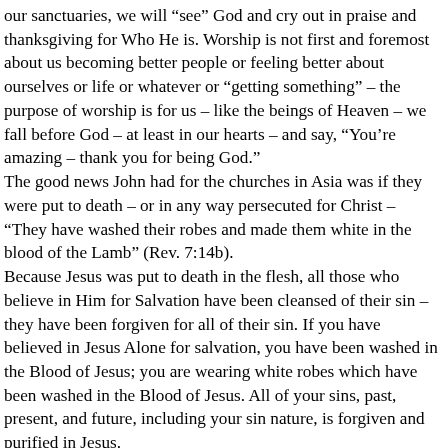our sanctuaries, we will “see” God and cry out in praise and thanksgiving for Who He is. Worship is not first and foremost about us becoming better people or feeling better about ourselves or life or whatever or “getting something” – the purpose of worship is for us – like the beings of Heaven – we fall before God – at least in our hearts – and say, “You’re amazing – thank you for being God.”
The good news John had for the churches in Asia was if they were put to death – or in any way persecuted for Christ – “They have washed their robes and made them white in the blood of the Lamb” (Rev. 7:14b).
Because Jesus was put to death in the flesh, all those who believe in Him for Salvation have been cleansed of their sin – they have been forgiven for all of their sin. If you have believed in Jesus Alone for salvation, you have been washed in the Blood of Jesus; you are wearing white robes which have been washed in the Blood of Jesus. All of your sins, past, present, and future, including your sin nature, is forgiven and purified in Jesus.
For the Christian, ultimately, death is not a problem. Most of us don’t desire to be sick or to go through the process of death, but in a very